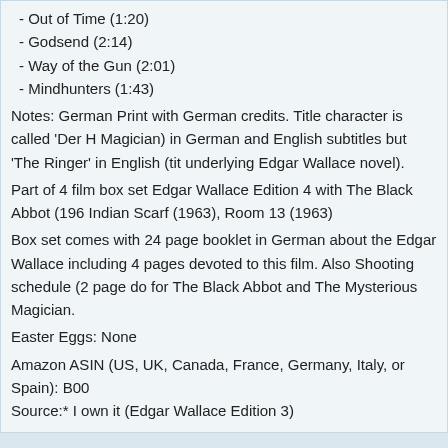- The Trixxer (2:20)
- Out of Time (1:20)
- Godsend (2:14)
- Way of the Gun (2:01)
- Mindhunters (1:43)
Notes: German Print with German credits. Title character is called 'Der H Magician) in German and English subtitles but 'The Ringer' in English (tit underlying Edgar Wallace novel).
Part of 4 film box set Edgar Wallace Edition 4 with The Black Abbot (196 Indian Scarf (1963), Room 13 (1963)
Box set comes with 24 page booklet in German about the Edgar Wallace including 4 pages devoted to this film. Also Shooting schedule (2 page do for The Black Abbot and The Mysterious Magician.
Easter Eggs: None
Amazon ASIN (US, UK, Canada, France, Germany, Italy, or Spain): B00
Source:* I own it (Edgar Wallace Edition 3)
Re: Edgar Wallace Edition Volume 4 (1963-1964) German B
by Eric_Cotenas » 18 Jan 2022 08:47
I'll take this one.